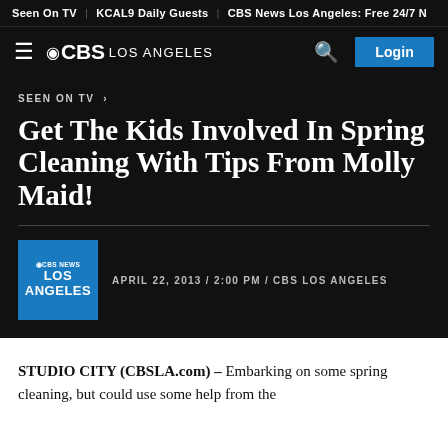Seen On TV | KCAL9 Daily Guests | CBS News Los Angeles: Free 24/7 N
[Figure (logo): CBS Los Angeles navigation bar with hamburger menu, CBS eye logo, search icon, and Login button]
SEEN ON TV ›
Get The Kids Involved In Spring Cleaning With Tips From Molly Maid!
APRIL 22, 2013 / 2:00 PM / CBS LOS ANGELES
STUDIO CITY (CBSLA.com) – Embarking on some spring cleaning, but could use some help from the